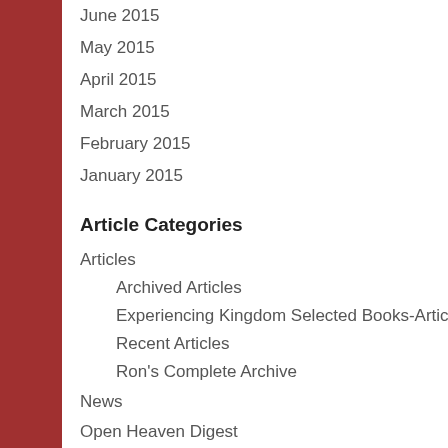June 2015
May 2015
April 2015
March 2015
February 2015
January 2015
Article Categories
Articles
Archived Articles
Experiencing Kingdom Selected Books-Articles
Recent Articles
Ron's Complete Archive
News
Open Heaven Digest